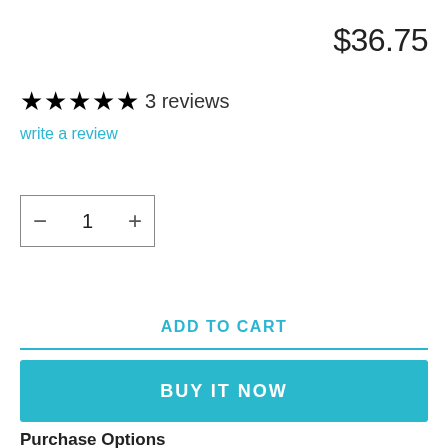$36.75
★★★★★ 3 reviews
write a review
− 1 +
ADD TO CART
BUY IT NOW
Purchase Options
[Figure (screenshot): Two purchase option cards partially visible at bottom, left card has blue border with wavy line icon]